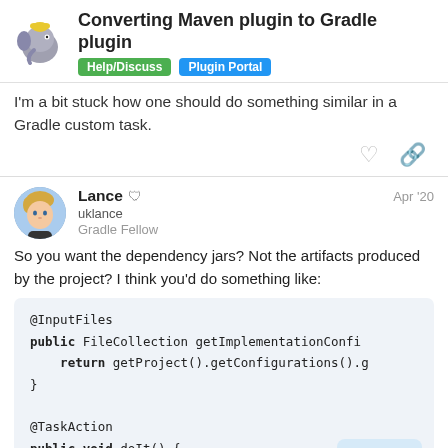Converting Maven plugin to Gradle plugin | Help/Discuss | Plugin Portal
I'm a bit stuck how one should do something similar in a Gradle custom task.
So you want the dependency jars? Not the artifacts produced by the project? I think you'd do something like:
Lance uklance Gradle Fellow Apr '20
[Figure (screenshot): Code block showing @InputFiles annotation, public FileCollection getImplementationConfi... method returning getProject().getConfigurations().g..., closing brace, @TaskAction annotation, public void doIt() { method, Set<File> files = getImp...]
5 / 14